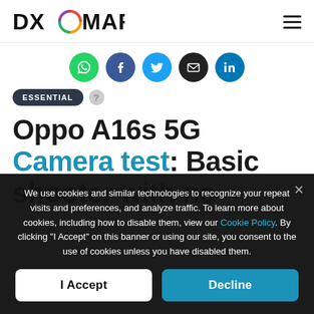DXOMARK
[Figure (infographic): Social sharing icons: WhatsApp (green), Facebook (dark blue), Twitter (blue), Email (black), LinkedIn (blue)]
ESSENTIAL
Oppo A16s 5G Camera test: Basic shooter with no
We use cookies and similar technologies to recognize your repeat visits and preferences, and analyze traffic. To learn more about cookies, including how to disable them, view our Cookie Policy. By clicking "I Accept" on this banner or using our site, you consent to the use of cookies unless you have disabled them.
I Accept
Decline